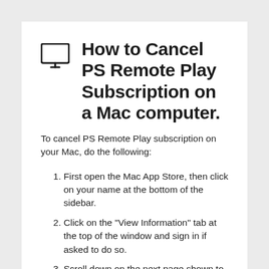🖥 How to Cancel PS Remote Play Subscription on a Mac computer.
To cancel PS Remote Play subscription on your Mac, do the following:
First open the Mac App Store, then click on your name at the bottom of the sidebar.
Click on the "View Information" tab at the top of the window and sign in if asked to do so.
Scroll down on the next page shown to you until you see the "Subscriptions" tab then click on "Manage".